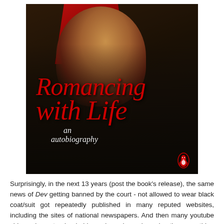[Figure (photo): Book cover of 'Romancing with Life: an autobiography' — a man in a dark leather jacket with red collar/hood, with the title in red italic script overlaid on the image. Penguin publisher logo at bottom right.]
Surprisingly, in the next 13 years (post the book's release), the same news of Dev getting banned by the court - not allowed to wear black coat/suit got repeatedly published in many reputed websites, including the sites of national newspapers. And then many youtube videos also got uploaded by various channels saying the same thing as an